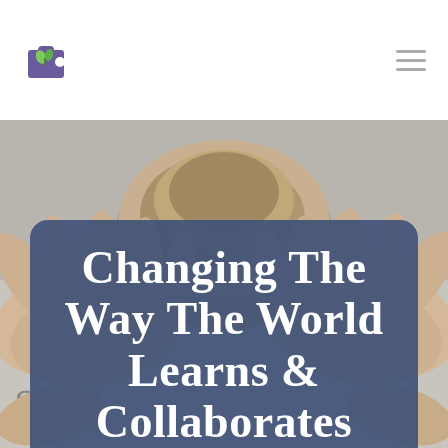[Figure (logo): Puzzle piece logo with plant/leaf icon, purple and green colors]
[Figure (photo): Close-up of a person with hands on their head, blurred background, grayscale-toned]
Changing The Way The World Learns & Collaborates